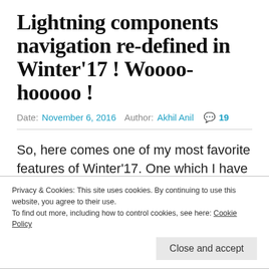Lightning components navigation re-defined in Winter'17 ! Woooo-hooooo !
Date: November 6, 2016  Author: Akhil Anil  💬 19
So, here comes one of my most favorite features of Winter'17. One which I have been looking forward since a very loooooong time. Finally it's here. A native lightning event that will allow you to
Privacy & Cookies: This site uses cookies. By continuing to use this website, you agree to their use.
To find out more, including how to control cookies, see here: Cookie Policy